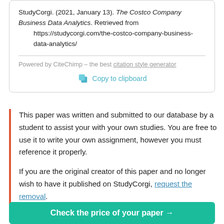StudyCorgi. (2021, January 13). The Costco Company Business Data Analytics. Retrieved from https://studycorgi.com/the-costco-company-business-data-analytics/
Powered by CiteChimp - the best citation style generator
Copy to clipboard
This paper was written and submitted to our database by a student to assist your with your own studies. You are free to use it to write your own assignment, however you must reference it properly.
If you are the original creator of this paper and no longer wish to have it published on StudyCorgi, request the removal.
Check the price of your paper →